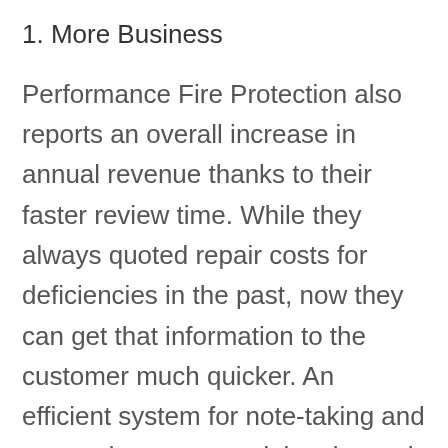1. More Business
Performance Fire Protection also reports an overall increase in annual revenue thanks to their faster review time. While they always quoted repair costs for deficiencies in the past, now they can get that information to the customer much quicker. An efficient system for note-taking and a speedy turn-around time is much better for these types of quotes. They find that they capture more business now because they have customers